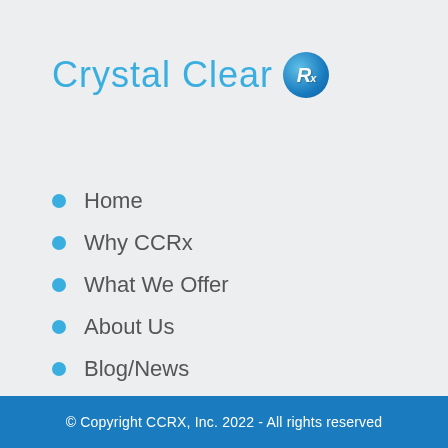[Figure (logo): Crystal Clear Rx logo with light blue text and blue circular Rx badge]
Home
Why CCRx
What We Offer
About Us
Blog/News
Case Studies
© Copyright CCRX, Inc. 2022 - All rights reserved